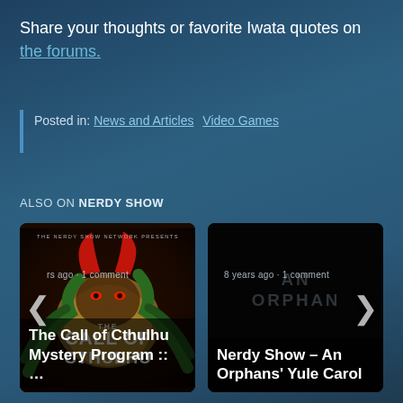Share your thoughts or favorite Iwata quotes on the forums.
Posted in: News and Articles  Video Games
ALSO ON NERDY SHOW
[Figure (screenshot): Card showing 'The Call of Cthulhu Mystery Program :: ...' with dark illustrated cover art of a demonic face with red horns, green tentacles, and yellow moon. Shows metadata: years ago, 1 comment.]
[Figure (screenshot): Card showing 'Nerdy Show – An Orphans' Yule Carol' with dark/black background and faint text 'AN ORPHAN'. Shows metadata: 8 years ago, 1 comment.]